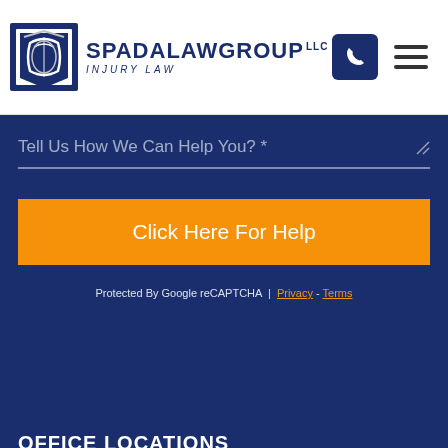[Figure (logo): Spada Law Group LLC Injury Law logo with shield icon]
Tell Us How We Can Help You? *
Click Here For Help
Protected By Google reCAPTCHA | Privacy - Terms
OFFICE LOCATIONS
Chelsea, MA Office
111 Everett Ave #1F
Chelsea, MA 02150